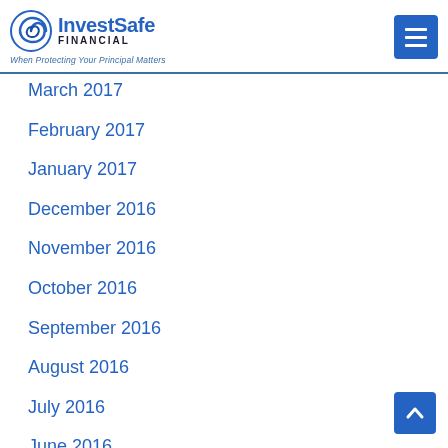InvestSafe Financial — When Protecting Your Principal Matters
March 2017
February 2017
January 2017
December 2016
November 2016
October 2016
September 2016
August 2016
July 2016
June 2016